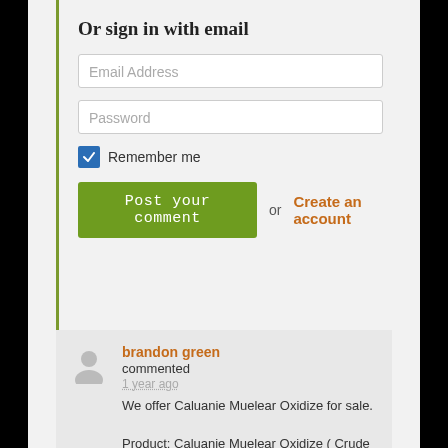Or sign in with email
Email Address
Password
Remember me
Post your comment  or  Create an account
brandon green
commented
1 year ago
We offer Caluanie Muelear Oxidize for sale.

Product: Caluanie Muelear Oxidize ( Crude Caluanie 99% is generated from Muelear oxidize). Caluanie (Oxidative